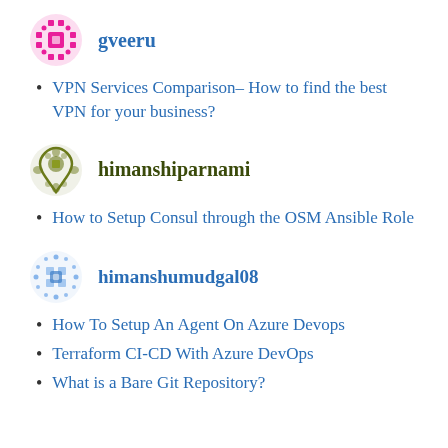[Figure (illustration): Pink decorative avatar icon for user gveeru]
gveeru
VPN Services Comparison– How to find the best VPN for your business?
[Figure (illustration): Olive/dark yellow decorative avatar icon for user himanshiparnami]
himanshiparnami
How to Setup Consul through the OSM Ansible Role
[Figure (illustration): Blue dotted decorative avatar icon for user himanshumudgal08]
himanshumudgal08
How To Setup An Agent On Azure Devops
Terraform CI-CD With Azure DevOps
What is a Bare Git Repository?